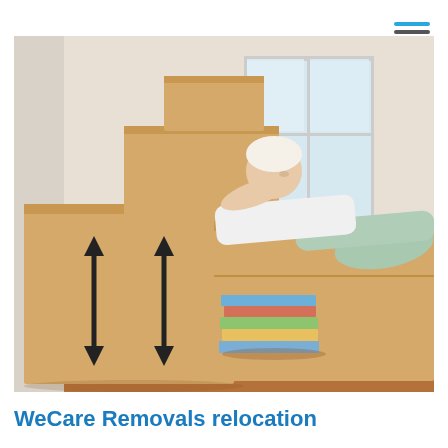[Figure (photo): A woman relaxing on top of a large moving/cardboard box, leaning back with hands behind her head, surrounded by stacked moving boxes with up-arrows marked on them, with books stacked on the floor nearby. The setting is a bright, empty room with a wooden floor and a window in the background.]
WeCare Removals relocation